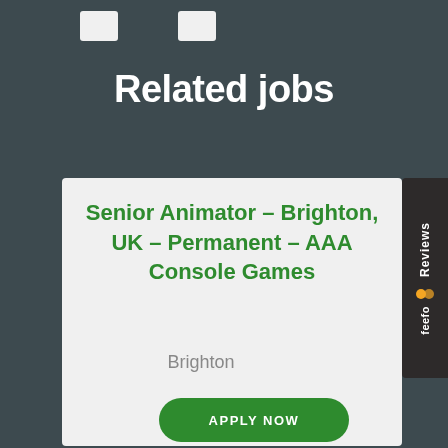Related jobs
Senior Animator – Brighton, UK – Permanent – AAA Console Games
Brighton
APPLY NOW